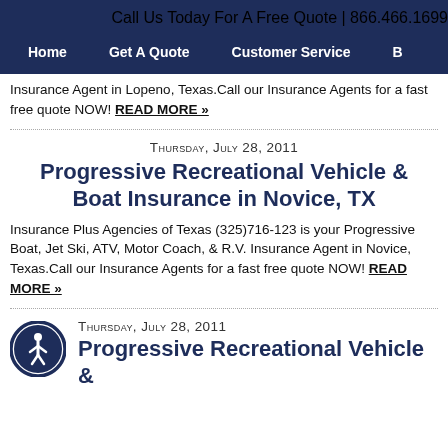Call Us Today For A Free Quote | 866.466.1699
Home   Get A Quote   Customer Service   B
Insurance Agent in Lopeno, Texas.Call our Insurance Agents for a fast free quote NOW! READ MORE »
Thursday, July 28, 2011
Progressive Recreational Vehicle & Boat Insurance in Novice, TX
Insurance Plus Agencies of Texas (325)716-123 is your Progressive Boat, Jet Ski, ATV, Motor Coach, & R.V. Insurance Agent in Novice, Texas.Call our Insurance Agents for a fast free quote NOW! READ MORE »
[Figure (illustration): Blue circular accessibility icon with a white figure of a person]
Thursday, July 28, 2011
Progressive Recreational Vehicle &